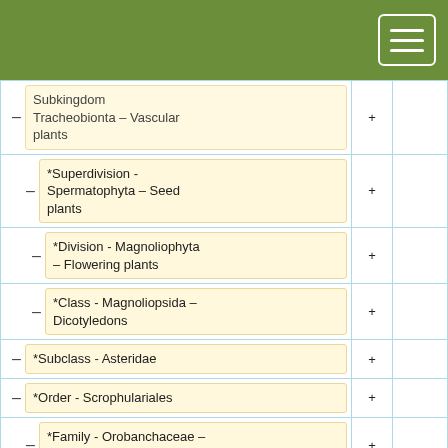| Classification | + |  |
| --- | --- | --- |
| Subkingdom – Tracheobionta – Vascular plants | + |  |
| *Superdivision - Spermatophyta – Seed plants | + |  |
| *Division - Magnoliophyta – Flowering plants | + |  |
| *Class - Magnoliopsida – Dicotyledons | + |  |
| –*Subclass - Asteridae | + |  |
| –*Order - Scrophulariales | + |  |
| *Family - Orobanchaceae – Broom-rape family | + |  |
| *Genus - Orobanche – broomrape | + |  |
| –*Species - O. uniflora | + |  |